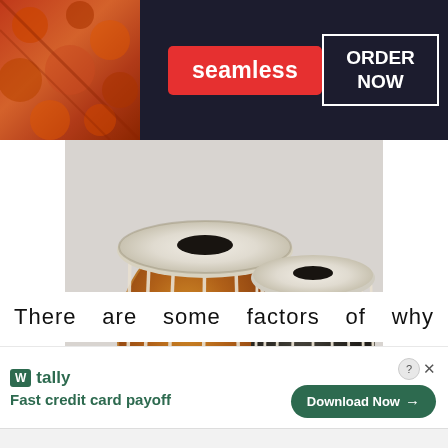[Figure (screenshot): Seamless food delivery advertisement banner with pizza image on left, red Seamless logo badge in center, and ORDER NOW button on right, on dark background]
[Figure (photo): Two Indian tabla drums (percussion instruments) side by side on red cushion bases. The left tabla is larger with copper/brass shell, the right is smaller with dark wood shell. Both have the traditional rope-and-ring tuning system visible.]
There are some factors of why
[Figure (screenshot): Tally app advertisement banner with W tally logo, text 'Fast credit card payoff', and green Download Now button with arrow. Has close X button in upper right.]